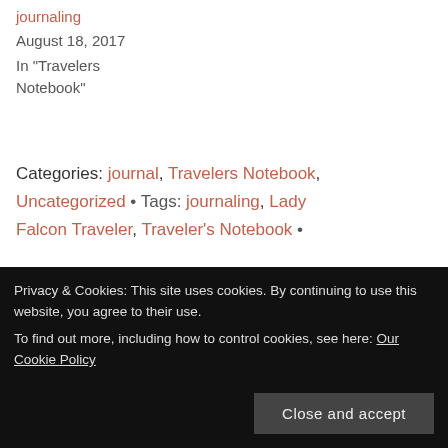journaling
August 18, 2017
In "Travelers Notebook"
Categories: journal, Travelers Notebook, Uncategorized • Tags: journaling, Lady Falcon Traveler, Traveler's Notebook •
3 thoughts on
Privacy & Cookies: This site uses cookies. By continuing to use this website, you agree to their use.
To find out more, including how to control cookies, see here: Our Cookie Policy
Close and accept